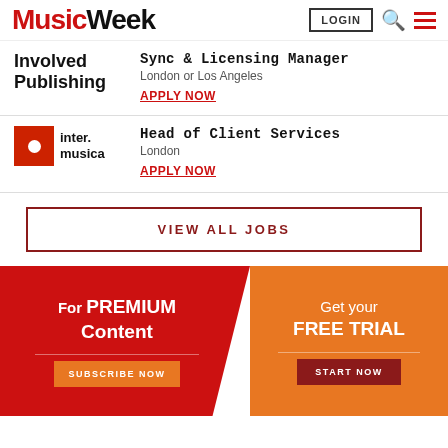MusicWeek
Sync & Licensing Manager
London or Los Angeles
APPLY NOW
Head of Client Services
London
APPLY NOW
VIEW ALL JOBS
For PREMIUM Content
SUBSCRIBE NOW
Get your FREE TRIAL
START NOW